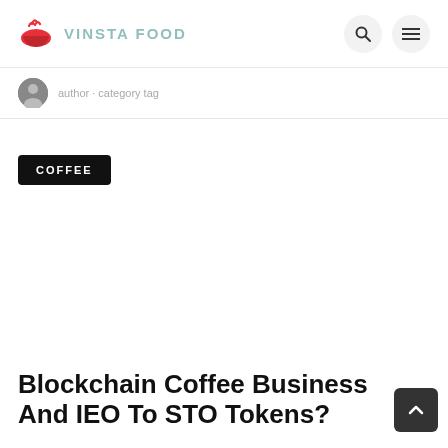VINSTA FOOD
author profile image and metadata
COFFEE
Blockchain Coffee Business And IEO To STO Tokens?